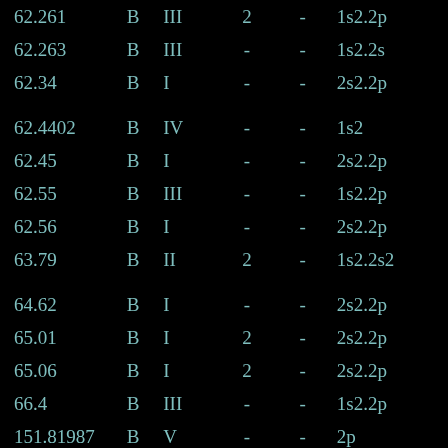| 62.261 | B | III | 2 | - | 1s2.2p |
| 62.263 | B | III | - | - | 1s2.2s |
| 62.34 | B | I | - | - | 2s2.2p |
| 62.4402 | B | IV | - | - | 1s2 |
| 62.45 | B | I | - | - | 2s2.2p |
| 62.55 | B | III | - | - | 1s2.2p |
| 62.56 | B | I | - | - | 2s2.2p |
| 63.79 | B | II | 2 | - | 1s2.2s2 |
| 64.62 | B | I | - | - | 2s2.2p |
| 65.01 | B | I | 2 | - | 2s2.2p |
| 65.06 | B | I | 2 | - | 2s2.2p |
| 66.4 | B | III | - | - | 1s2.2p |
| 151.81987 | B | V | - | - | 2p |